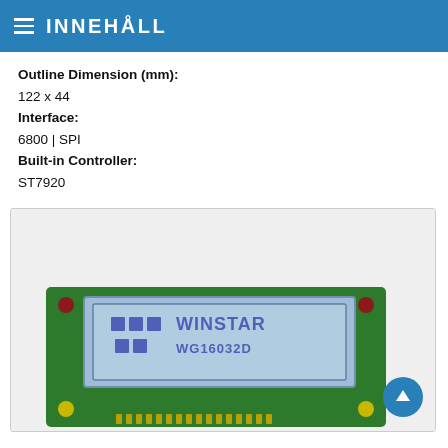INNEHÅLL
Outline Dimension (mm):
122 x 44
Interface:
6800 | SPI
Built-in Controller:
ST7920
[Figure (photo): Photo of a Winstar WG16032D LCD module mounted on a green PCB. The LCD screen shows the Winstar logo icons and text 'WINSTAR WG16032D' on a blue/grey display. Red and yellow corner mounting holes are visible on the PCB, along with gold connector pins along the bottom edge.]